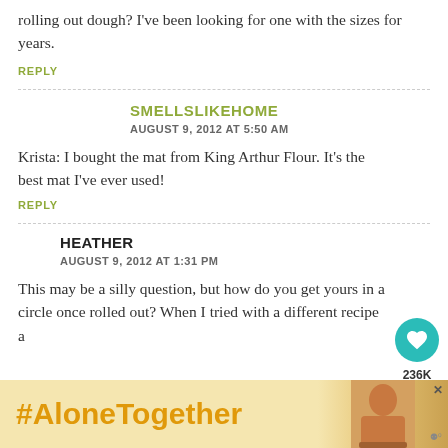rolling out dough? I've been looking for one with the sizes for years.
REPLY
SMELLSLIKEHOME
AUGUST 9, 2012 AT 5:50 AM
Krista: I bought the mat from King Arthur Flour. It's the best mat I've ever used!
REPLY
HEATHER
AUGUST 9, 2012 AT 1:31 PM
This may be a silly question, but how do you get yours in a circle once rolled out? When I tried with a different recipe a...c...but c...
[Figure (screenshot): Social share buttons: heart icon with 236K count and share icon]
[Figure (infographic): What's Next promo: Homemade Chocolate...]
[Figure (infographic): #AloneTogether banner advertisement with woman eating image]